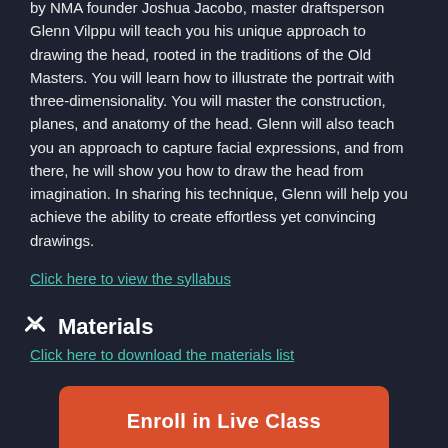by NMA founder Joshua Jacobo, master draftsperson Glenn Vilppu will teach you his unique approach to drawing the head, rooted in the traditions of the Old Masters. You will learn how to illustrate the portrait with three-dimensionality. You will master the construction, planes, and anatomy of the head. Glenn will also teach you an approach to capture facial expressions, and from there, he will show you how to draw the head from imagination. In sharing his technique, Glenn will help you achieve the ability to create effortless yet convincing drawings.
Click here to view the syllabus
Materials
Click here to download the materials list
Enroll in Live Class
Meet Your Instructor
Joshua Jacobo is a fine artist and educator specializing in drawing, modeling, and sculpting the human figure. Currently